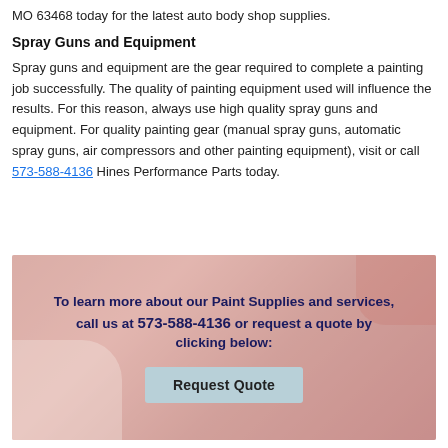MO 63468 today for the latest auto body shop supplies.
Spray Guns and Equipment
Spray guns and equipment are the gear required to complete a painting job successfully. The quality of painting equipment used will influence the results. For this reason, always use high quality spray guns and equipment. For quality painting gear (manual spray guns, automatic spray guns, air compressors and other painting equipment), visit or call 573-588-4136 Hines Performance Parts today.
[Figure (photo): Banner image showing gloved hands working on auto body painting. Text overlay reads: 'To learn more about our Paint Supplies and services, call us at 573-588-4136 or request a quote by clicking below:' with a 'Request Quote' button.]